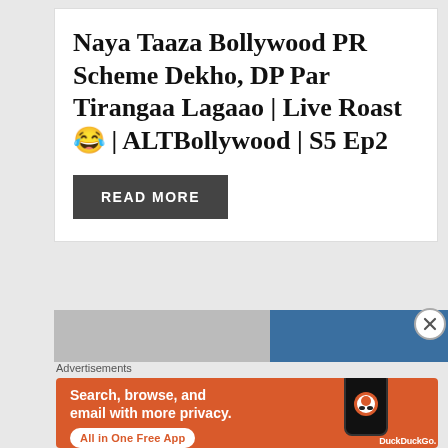Naya Taaza Bollywood PR Scheme Dekho, DP Par Tirangaa Lagaao | Live Roast 😂 | ALTBollywood | S5 Ep2
READ MORE
[Figure (screenshot): Advertisement banner showing partial image strip with person thumbnail and blue section]
Advertisements
[Figure (illustration): DuckDuckGo advertisement banner with orange background, text: Search, browse, and email with more privacy. All in One Free App, with phone mockup and DuckDuckGo logo]